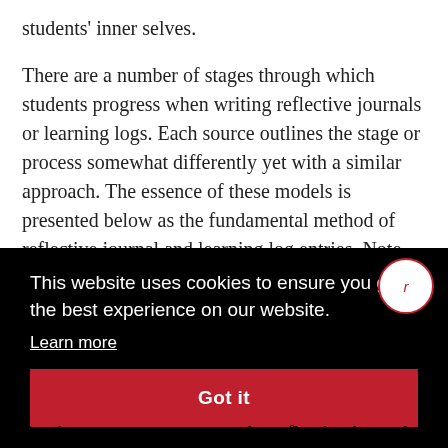students' inner selves.

There are a number of stages through which students progress when writing reflective journals or learning logs. Each source outlines the stage or process somewhat differently yet with a similar approach. The essence of these models is presented below as the fundamental method of reflective journal and learning log entries. Note that each of the items below could be modified
[Figure (screenshot): Cookie consent overlay banner with black background, white text reading 'This website uses cookies to ensure you get the best experience on our website.', a 'Learn more' underlined link, and a red 'Got it' button. A circular icon with 'r' in red is partially visible at top right.]
the time comes to return to the reflective journal